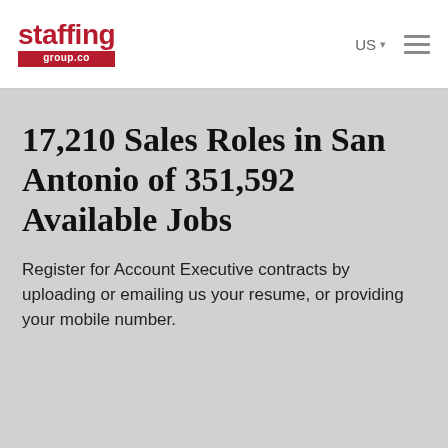[Figure (logo): Staffing Group Co logo with red text and red underline bar with 'group.co' subtitle]
US ▾  ☰
17,210 Sales Roles in San Antonio of 351,592 Available Jobs
Register for Account Executive contracts by uploading or emailing us your resume, or providing your mobile number.